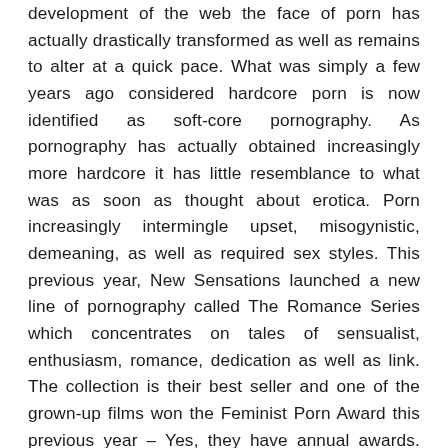development of the web the face of porn has actually drastically transformed as well as remains to alter at a quick pace. What was simply a few years ago considered hardcore porn is now identified as soft-core pornography. As pornography has actually obtained increasingly more hardcore it has little resemblance to what was as soon as thought about erotica. Porn increasingly intermingle upset, misogynistic, demeaning, as well as required sex styles. This previous year, New Sensations launched a new line of pornography called The Romance Series which concentrates on tales of sensualist, enthusiasm, romance, dedication as well as link. The collection is their best seller and one of the grown-up films won the Feminist Porn Award this previous year – Yes, they have annual awards. Other adult producers are doing the same bringing the partnership as well as affection back to porn.